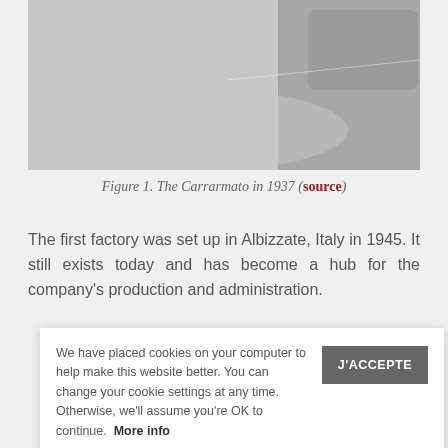[Figure (photo): Black and white photograph of the Carrarmato in 1937, showing a vehicle or machinery on snowy/dusty ground]
Figure 1. The Carrarmato in 1937 (source)
The first factory was set up in Albizzate, Italy in 1945. It still exists today and has become a hub for the company's production and administration.
[Figure (logo): Yellow octagonal logo with black border and text, partially visible at the bottom of the page]
We have placed cookies on your computer to help make this website better. You can change your cookie settings at any time. Otherwise, we'll assume you're OK to continue. More info